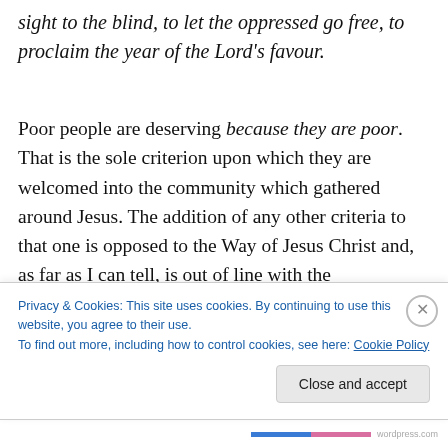sight to the blind, to let the oppressed go free, to proclaim the year of the Lord's favour.
Poor people are deserving because they are poor. That is the sole criterion upon which they are welcomed into the community which gathered around Jesus. The addition of any other criteria to that one is opposed to the Way of Jesus Christ and, as far as I can tell, is out of line with the
Privacy & Cookies: This site uses cookies. By continuing to use this website, you agree to their use.
To find out more, including how to control cookies, see here: Cookie Policy